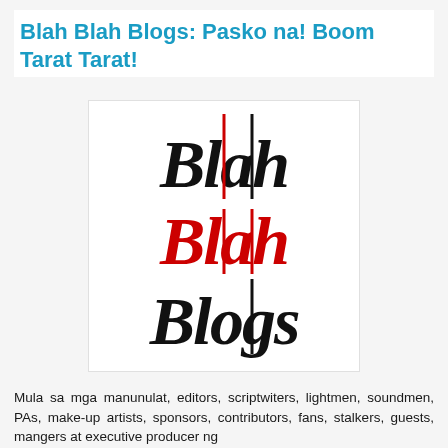Blah Blah Blogs: Pasko na! Boom Tarat Tarat!
[Figure (logo): Blah Blah Blogs logo with 'Blah' in black, 'Blah' in red, and 'Blogs' in black, stacked vertically in a handwritten style font on white background]
Mula sa mga manunulat, editors, scriptwiters, lightmen, soundmen, PAs, make-up artists, sponsors, contributors, fans, stalkers, guests, mangers at executive producer ng